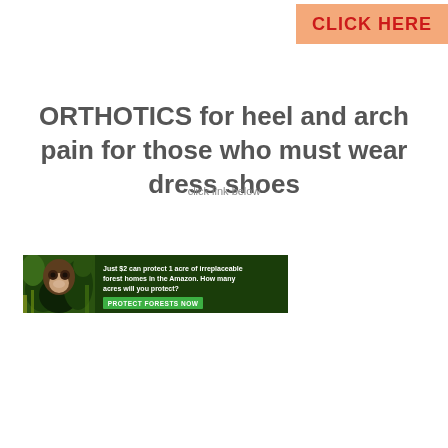[Figure (screenshot): Orange/salmon colored banner with bold red text reading CLICK HERE]
ORTHOTICS for heel and arch pain for those who must wear dress shoes
click link below
[Figure (screenshot): Amazon rainforest conservation ad banner with monkey image. Text: Just $2 can protect 1 acre of irreplaceable forest homes in the Amazon. How many acres will you protect? Button: PROTECT FORESTS NOW]